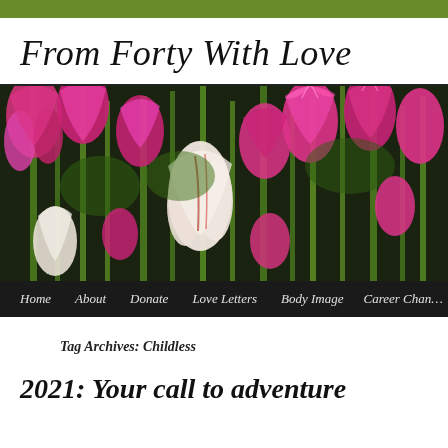From Forty With Love
[Figure (photo): A field of pink and white tulips in bloom with green stems against a dark background]
Home  About  Donate  Love Letters  Body Image  Career Chan…
Tag Archives: Childless
2021: Your call to adventure